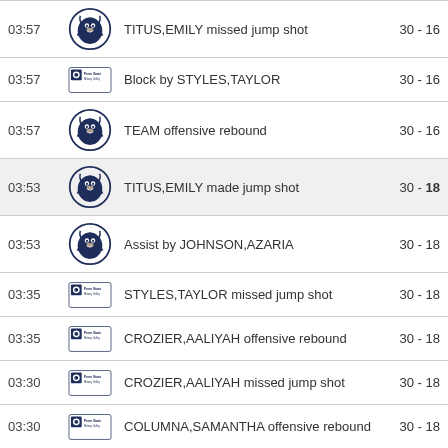| Time | Team | Description | Score |
| --- | --- | --- | --- |
| 03:57 | Penn State (Lion) | TITUS,EMILY missed jump shot | 30 - 16 |
| 03:57 | Penn State (Wordmark) | Block by STYLES,TAYLOR | 30 - 16 |
| 03:57 | Penn State (Lion) | TEAM offensive rebound | 30 - 16 |
| 03:53 | Penn State (Lion) | TITUS,EMILY made jump shot | 30 - 18 |
| 03:53 | Penn State (Lion) | Assist by JOHNSON,AZARIA | 30 - 18 |
| 03:35 | Penn State (Wordmark) | STYLES,TAYLOR missed jump shot | 30 - 18 |
| 03:35 | Penn State (Wordmark) | CROZIER,AALIYAH offensive rebound | 30 - 18 |
| 03:30 | Penn State (Wordmark) | CROZIER,AALIYAH missed jump shot | 30 - 18 |
| 03:30 | Penn State (Wordmark) | COLUMNA,SAMANTHA offensive rebound | 30 - 18 |